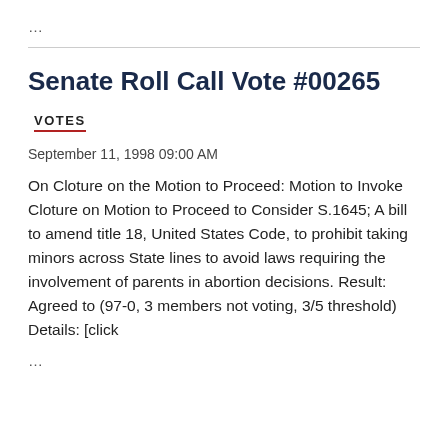...
Senate Roll Call Vote #00265
VOTES
September 11, 1998 09:00 AM
On Cloture on the Motion to Proceed: Motion to Invoke Cloture on Motion to Proceed to Consider S.1645; A bill to amend title 18, United States Code, to prohibit taking minors across State lines to avoid laws requiring the involvement of parents in abortion decisions. Result: Agreed to (97-0, 3 members not voting, 3/5 threshold) Details: [click
...